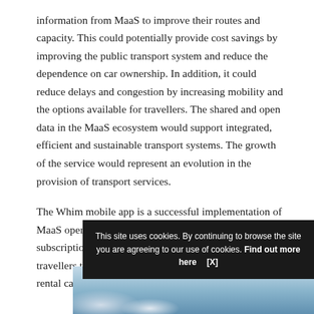information from MaaS to improve their routes and capacity. This could potentially provide cost savings by improving the public transport system and reduce the dependence on car ownership. In addition, it could reduce delays and congestion by increasing mobility and the options available for travellers. The shared and open data in the MaaS ecosystem would support integrated, efficient and sustainable transport systems. The growth of the service would represent an evolution in the provision of transport services.
The Whim mobile app is a successful implementation of MaaS operating in Helsinki. It offers a range of subscription and pay-as-you-go plans allowing city travellers to book and pay for buses, trains, taxis, bikes, rental cars, and more — all from a single app.
[Figure (photo): Partial photo showing sky with clouds at the bottom of the page, partially obscured by a cookie consent banner.]
This site uses cookies. By continuing to browse the site you are agreeing to our use of cookies. Find out more here   [X]